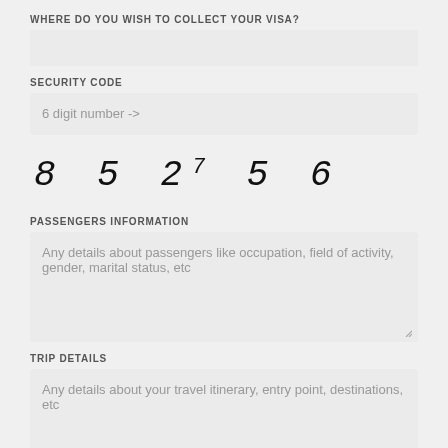WHERE DO YOU WISH TO COLLECT YOUR VISA?
SECURITY CODE
6 digit number ->
[Figure (other): Handwritten CAPTCHA showing digits: 8 5 27 5 6]
PASSENGERS INFORMATION
Any details about passengers like occupation, field of activity, gender, marital status, etc
TRIP DETAILS
Any details about your travel itinerary, entry point, destinations, etc